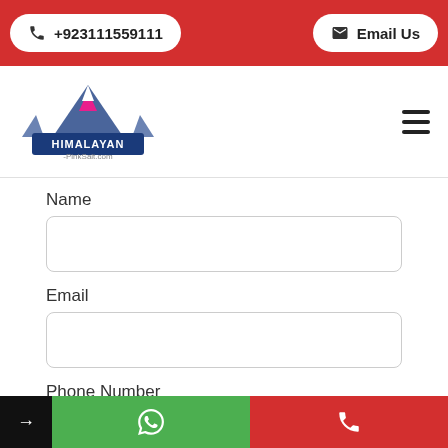+923111559111   Email Us
[Figure (logo): Himalayan PinkSalt.com mountain logo with blue text and pink mountain peak]
Name
Email
Phone Number
→  WhatsApp icon  Phone icon